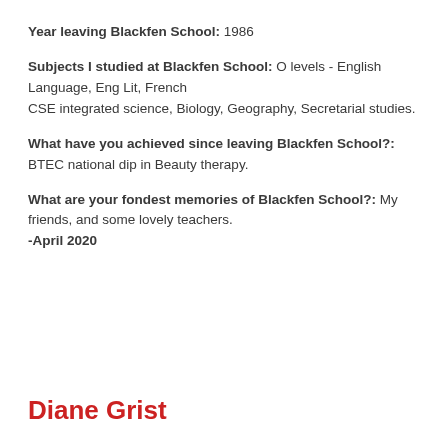Year leaving Blackfen School: 1986
Subjects I studied at Blackfen School: O levels - English Language, Eng Lit, French
CSE integrated science, Biology, Geography, Secretarial studies.
What have you achieved since leaving Blackfen School?: BTEC national dip in Beauty therapy.
What are your fondest memories of Blackfen School?: My friends, and some lovely teachers.
-April 2020
Diane Grist